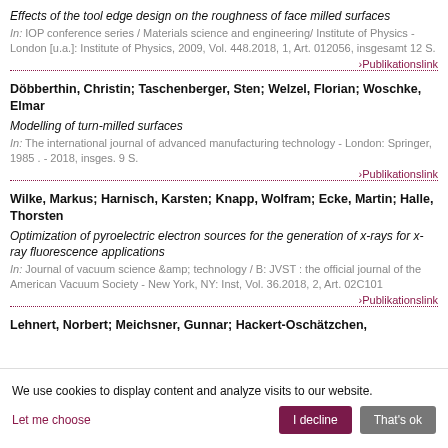Effects of the tool edge design on the roughness of face milled surfaces
In: IOP conference series / Materials science and engineering/ Institute of Physics - London [u.a.]: Institute of Physics, 2009, Vol. 448.2018, 1, Art. 012056, insgesamt 12 S.
›Publikationslink
Döbberthin, Christin; Taschenberger, Sten; Welzel, Florian; Woschke, Elmar
Modelling of turn-milled surfaces
In: The international journal of advanced manufacturing technology - London: Springer, 1985 . - 2018, insges. 9 S.
›Publikationslink
Wilke, Markus; Harnisch, Karsten; Knapp, Wolfram; Ecke, Martin; Halle, Thorsten
Optimization of pyroelectric electron sources for the generation of x-rays for x-ray fluorescence applications
In: Journal of vacuum science &amp;amp; technology / B: JVST : the official journal of the American Vacuum Society - New York, NY: Inst, Vol. 36.2018, 2, Art. 02C101
›Publikationslink
Lehnert, Norbert; Meichsner, Gunnar; Hackert-Oschätzchen, ...
We use cookies to display content and analyze visits to our website.